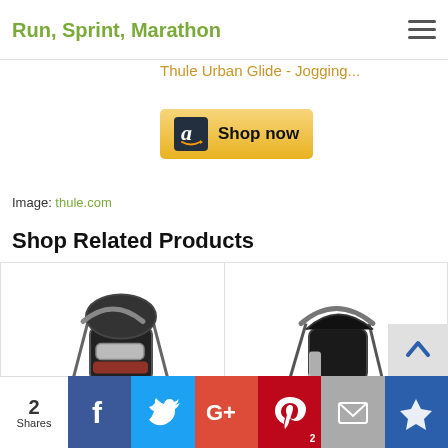Run, Sprint, Marathon
Thule Urban Glide - Jogging...
[Figure (other): Amazon Shop now button with Amazon logo]
Image: thule.com
Shop Related Products
[Figure (photo): Baby Trend Expedition Jogger Stroller, Phantom, 50 Pounds - black and silver jogging stroller]
[Figure (photo): BOB Rambler Jogging Stroller, Black [Old Version] - black jogging stroller]
Baby Trend Expedition Jogger Stroller, Phantom, 50 Pounds
BOB Rambler Jogging Stroller, Black [Old Version]
2 Shares | Facebook | Twitter | Google+ | Pinterest (2) | Email | Crown